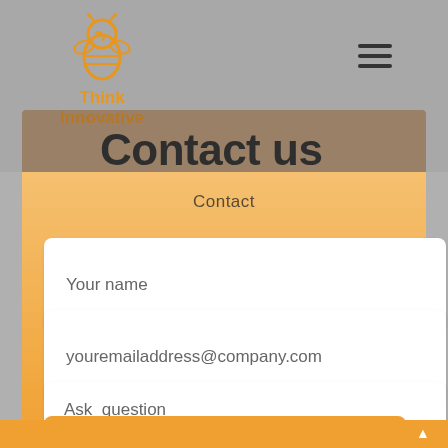[Figure (logo): Think Innovative bee logo with orange bee icon above text 'Think Innovative' in orange]
[Figure (other): Hamburger menu icon with three horizontal lines]
Contact us
Contact
Your name
youremailaddress@company.com
Ask  question